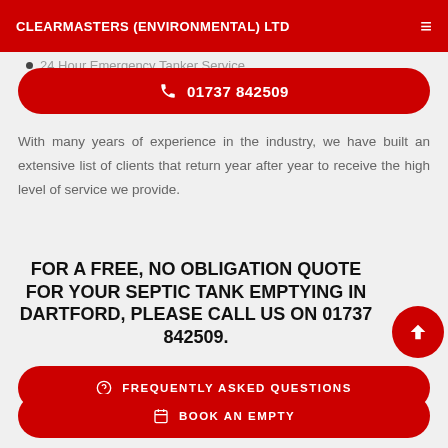CLEARMASTERS (ENVIRONMENTAL) LTD
24 Hour Emergency Tanker Service
☎ 01737 842509
With many years of experience in the industry, we have built an extensive list of clients that return year after year to receive the high level of service we provide.
FOR A FREE, NO OBLIGATION QUOTE FOR YOUR SEPTIC TANK EMPTYING IN DARTFORD, PLEASE CALL US ON 01737 842509.
⑦ FREQUENTLY ASKED QUESTIONS
BOOK AN EMPTY